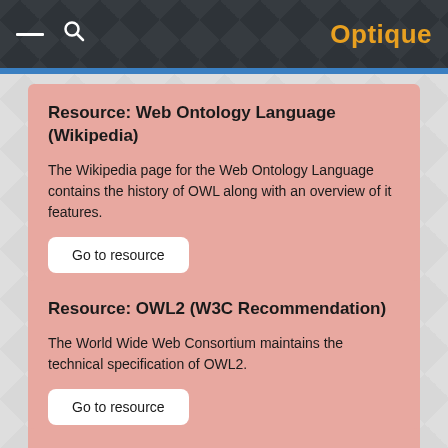Optique
Resource: Web Ontology Language (Wikipedia)
The Wikipedia page for the Web Ontology Language contains the history of OWL along with an overview of it features.
Go to resource
Resource: OWL2 (W3C Recommendation)
The World Wide Web Consortium maintains the technical specification of OWL2.
Go to resource